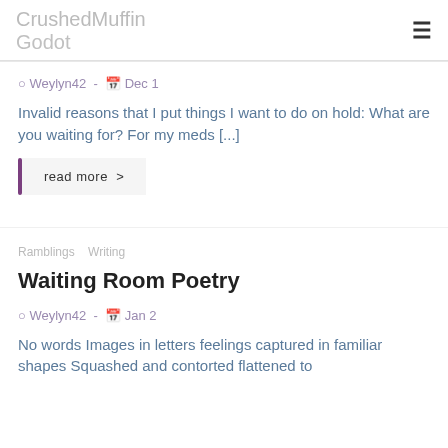CrushedMuffin / Godot
Weylyn42 - Dec 1
Invalid reasons that I put things I want to do on hold: What are you waiting for? For my meds [...]
read more >
Ramblings / Writing
Waiting Room Poetry
Weylyn42 - Jan 2
No words Images in letters feelings captured in familiar shapes Squashed and contorted flattened to